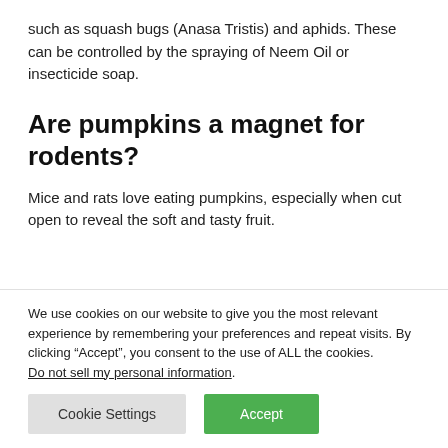such as squash bugs (Anasa Tristis) and aphids. These can be controlled by the spraying of Neem Oil or insecticide soap.
Are pumpkins a magnet for rodents?
Mice and rats love eating pumpkins, especially when cut open to reveal the soft and tasty fruit.
We use cookies on our website to give you the most relevant experience by remembering your preferences and repeat visits. By clicking “Accept”, you consent to the use of ALL the cookies. Do not sell my personal information.